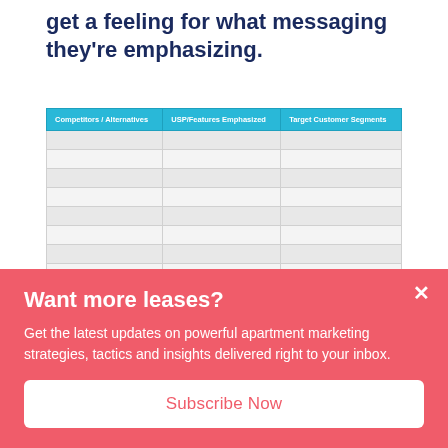get a feeling for what messaging they're emphasizing.
| Competitors / Alternatives | USP/Features Emphasized | Target Customer Segments |
| --- | --- | --- |
|  |  |  |
|  |  |  |
|  |  |  |
|  |  |  |
|  |  |  |
|  |  |  |
|  |  |  |
|  |  |  |
|  |  |  |
Want more leases?
Get the latest updates on powerful apartment marketing strategies, tactics and insights delivered right to your inbox.
Subscribe Now